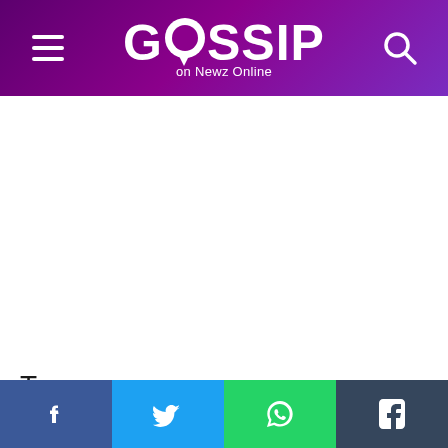GOSSIP on Newz Online
Tags
Frieha altaf
Subscribe Us!
xyz@example.com
Subscribe
Facebook | Twitter | WhatsApp | Tumblr